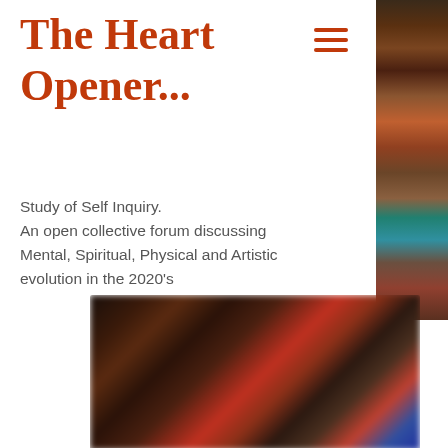The Heart Opener...
[Figure (photo): Vertical strip of blurred image thumbnails on the right side of the page showing colorful artistic images]
Study of Self Inquiry.
An open collective forum discussing Mental, Spiritual, Physical and Artistic evolution in the 2020's
[Figure (photo): Blurred horizontal photo collage at the bottom showing colorful artistic and book images in dark tones with red and blue accents]